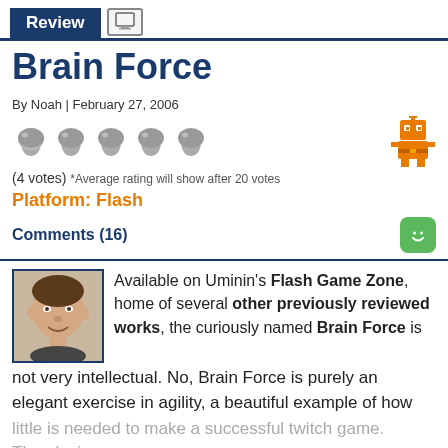Review
Brain Force
By Noah | February 27, 2006
[Figure (illustration): Five mushroom-shaped rating icons (grey) and one orange pixel-art robot icon on the right]
(4 votes) *Average rating will show after 20 votes
Platform: Flash
Comments (16)
Available on Uminin's Flash Game Zone, home of several other previously reviewed works, the curiously named Brain Force is not very intellectual. No, Brain Force is purely an elegant exercise in agility, a beautiful example of how little is needed to make a successful twitch game.
The playing